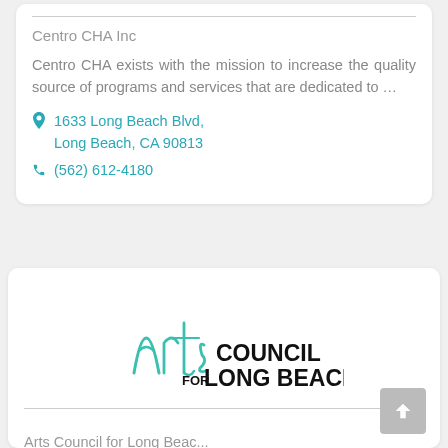Centro CHA Inc
Centro CHA exists with the mission to increase the quality source of programs and services that are dedicated to …
1633 Long Beach Blvd, Long Beach, CA 90813
(562) 612-4180
[Figure (logo): Arts Council for Long Beach logo — stylized 'Arts' in teal/green handwriting and 'COUNCIL FOR LONG BEACH' in bold black text]
Arts Council for Long Beach